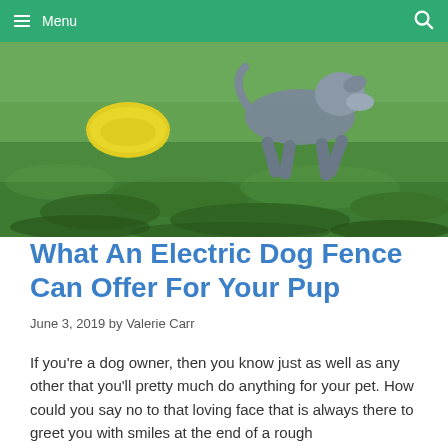Menu
[Figure (photo): A dog running on grass, carrying a yellow frisbee]
What An Electric Dog Fence Can Offer For Your Pup
June 3, 2019 by Valerie Carr
If you’re a dog owner, then you know just as well as any other that you’ll pretty much do anything for your pet. How could you say no to that loving face that is always there to greet you with smiles at the end of a rough